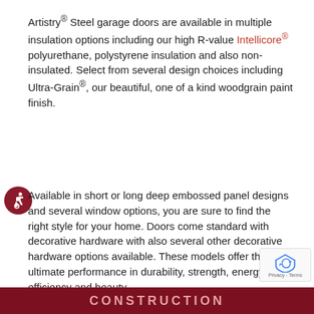Artistry® Steel garage doors are available in multiple insulation options including our high R-value Intellicore® polyurethane, polystyrene insulation and also non-insulated. Select from several design choices including Ultra-Grain®, our beautiful, one of a kind woodgrain paint finish.
Available in short or long deep embossed panel designs and several window options, you are sure to find the right style for your home. Doors come standard with decorative hardware with also several other decorative hardware options available. These models offer the ultimate performance in durability, strength, energy efficiency and beauty.
CONSTRUCTION